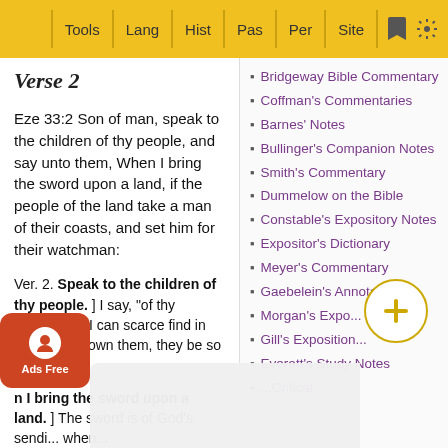Tools | Lang | Hist | Pas | Per | Site
Verse 2
Eze 33:2 Son of man, speak to the children of thy people, and say unto them, When I bring the sword upon a land, if the people of the land take a man of their coasts, and set him for their watchman:
Ver. 2. Speak to the children of thy people. ] I say, "of thy people"; for I can scarce find in my heart to own them, they be so bad.
n I bring the sword upon a land. ] The sword is of God's sendi... when...
Bridgeway Bible Commentary
Coffman's Commentaries
Barnes' Notes
Bullinger's Companion Notes
Smith's Commentary
Dummelow on the Bible
Constable's Expository Notes
Expositor's Dictionary
Meyer's Commentary
Gaebelein's Annotated
Morgan's Expo...
Gill's Exposition...
Everett's Study Notes
...Critical